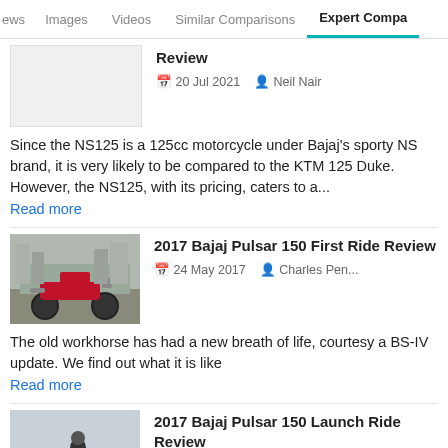ews   Images   Videos   Similar Comparisons   Expert Compa
[Figure (photo): Thumbnail placeholder for first article]
Review
20 Jul 2021   Neil Nair
Since the NS125 is a 125cc motorcycle under Bajaj's sporty NS brand, it is very likely to be compared to the KTM 125 Duke. However, the NS125, with its pricing, caters to a...
Read more
[Figure (photo): Red Bajaj Pulsar 150 motorcycle on dirt road with city buildings in background]
2017 Bajaj Pulsar 150 First Ride Review
24 May 2017   Charles Pen...
The old workhorse has had a new breath of life, courtesy a BS-IV update. We find out what it is like
Read more
[Figure (photo): Red Bajaj Pulsar 150 motorcycle ridden on highway by helmeted rider]
2017 Bajaj Pulsar 150 Launch Ride Review
10 Feb 2017   Ranjan R. B...
The Pulsar 150 is the highest-selling 150cc motorcycle in the country. So when the time came for Bajaj to update the range to